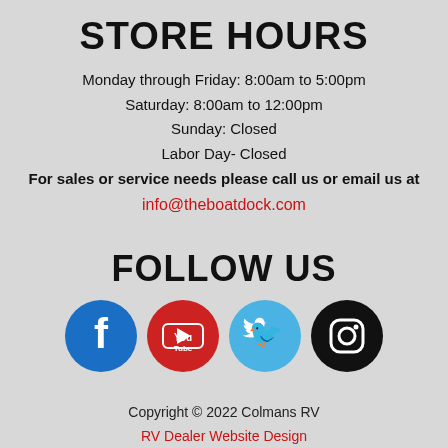STORE HOURS
Monday through Friday: 8:00am to 5:00pm
Saturday: 8:00am to 12:00pm
Sunday: Closed
Labor Day- Closed
For sales or service needs please call us or email us at
info@theboatdock.com
FOLLOW US
[Figure (infographic): Four social media icons in circles: Facebook (blue), YouTube (red), Twitter (light blue), Instagram (black)]
Copyright © 2022 Colmans RV
RV Dealer Website Design
Privacy Policy
Sold RVs